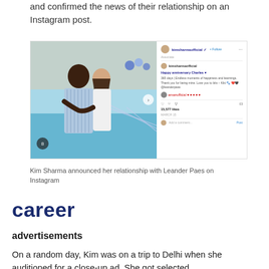and confirmed the news of their relationship on an Instagram post.
[Figure (screenshot): Instagram post screenshot showing Kim Sharma and Leander Paes posing together outdoors, with an anniversary caption and heart reactions.]
Kim Sharma announced her relationship with Leander Paes on Instagram
career
advertisements
On a random day, Kim was on a trip to Delhi when she auditioned for a close-up ad. She got selected